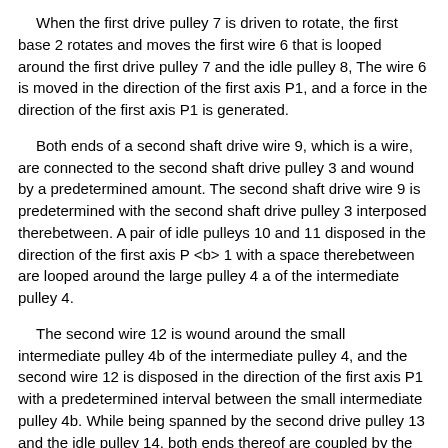When the first drive pulley 7 is driven to rotate, the first base 2 rotates and moves the first wire 6 that is looped around the first drive pulley 7 and the idle pulley 8, The wire 6 is moved in the direction of the first axis P1, and a force in the direction of the first axis P1 is generated.
Both ends of a second shaft drive wire 9, which is a wire, are connected to the second shaft drive pulley 3 and wound by a predetermined amount. The second shaft drive wire 9 is predetermined with the second shaft drive pulley 3 interposed therebetween. A pair of idle pulleys 10 and 11 disposed in the direction of the first axis P <b> 1 with a space therebetween are looped around the large pulley 4 a of the intermediate pulley 4.
The second wire 12 is wound around the small intermediate pulley 4b of the intermediate pulley 4, and the second wire 12 is disposed in the direction of the first axis P1 with a predetermined interval between the small intermediate pulley 4b. While being spanned by the second drive pulley 13 and the idle pulley 14, both ends thereof are coupled by the coupling portion 12a.